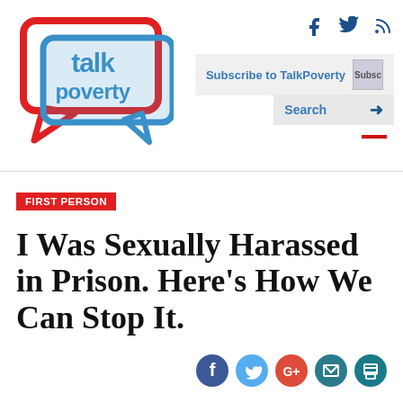[Figure (logo): TalkPoverty logo: red speech bubble outline with 'talk poverty' text in blue inside]
[Figure (infographic): Social media icons: Facebook (f), Twitter (bird), RSS feed at top right]
Subscribe to TalkPoverty
Search
FIRST PERSON
I Was Sexually Harassed in Prison. Here’s How We Can Stop It.
[Figure (infographic): Social share icons row: Facebook (blue circle), Twitter (light blue circle), Google+ (red circle), Email (teal circle), Print (teal circle)]